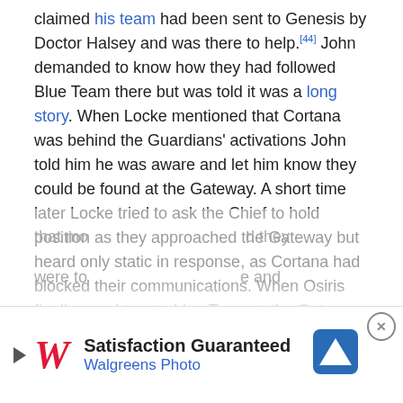claimed his team had been sent to Genesis by Doctor Halsey and was there to help.[44] John demanded to know how they had followed Blue Team there but was told it was a long story. When Locke mentioned that Cortana was behind the Guardians' activations John told him he was aware and let him know they could be found at the Gateway. A short time later Locke tried to ask the Chief to hold position as they approached the Gateway but heard only static in response, as Cortana had blocked their communications. When Osiris finally caught up to blue Team at the Gateway the Spartan-IVs were accompanied by the world's monitor, 031 Exuberant Witness. John, Linda, Kelly and Fred all spun around at the approach of Osiris and trained their weapons on the other Spartans but John lowered his rifle at the mention of Cortana by Locke and said he was aware that she was now a danger. Locke offered his team's assistance in dealing with her, but a... that mo... d they were to... e and
[Figure (other): Walgreens Photo advertisement banner with Satisfaction Guaranteed text, Walgreens W logo, and a navigation/map icon. Close button (X) visible in top right corner.]